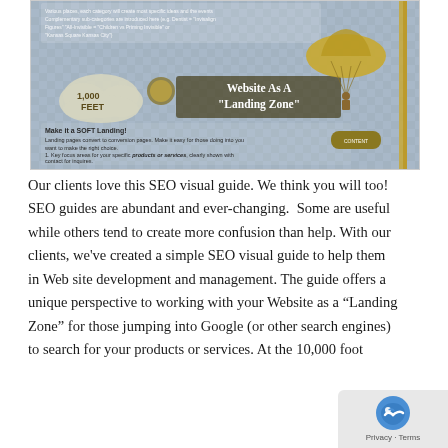[Figure (infographic): An SEO visual guide infographic showing a parachutist landing on a website 'Landing Zone', with sections labeled at 1,000 feet and 10,000 feet, with text about making it a SOFT Landing and tips about calls-to-action, products/services, contact info.]
Our clients love this SEO visual guide. We think you will too! SEO guides are abundant and ever-changing. Some are useful while others tend to create more confusion than help. With our clients, we've created a simple SEO visual guide to help them in Web site development and management. The guide offers a unique perspective to working with your Website as a "Landing Zone" for those jumping into Google (or other search engines) to search for your products or services. At the 10,000 foot